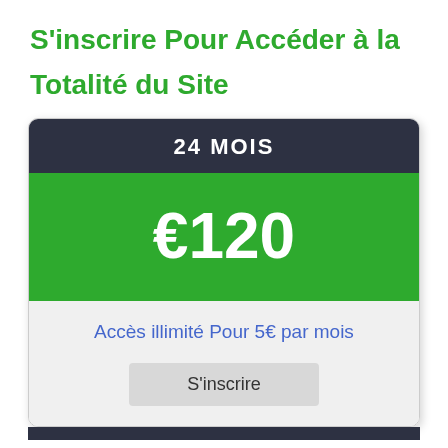S'inscrire Pour Accéder à la Totalité du Site
24 MOIS
€120
Accès illimité Pour 5€ par mois
S'inscrire